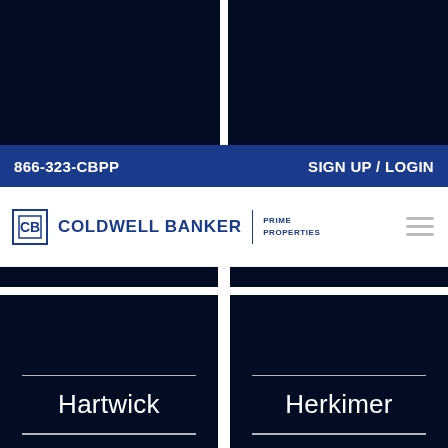[Figure (screenshot): Top dark navy image panels, two side by side with white gap]
866-323-CBPP    SIGN UP / LOGIN
[Figure (logo): Coldwell Banker Prime Properties logo with hamburger menu icon]
[Figure (screenshot): Two dark navy location card panels: Hartwick and Herkimer]
[Figure (screenshot): Bottom partial dark navy panels]